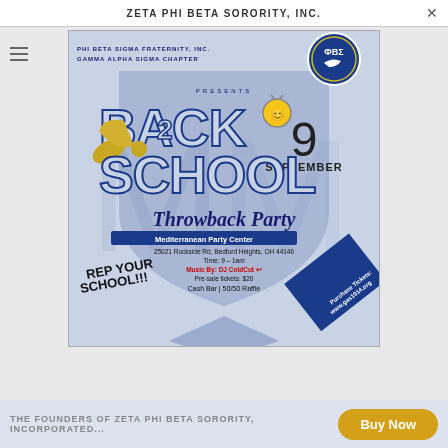ZETA PHI BETA SORORITY, INC.
[Figure (illustration): Flyer for Phi Beta Sigma Fraternity, Inc. Gamma Alpha Sigma Chapter Back 2 School Throwback Party at Mediterranean Party Center, 25021 Rockside Rd, Bedford Heights, OH 44146. Time: 9 - 1am. Music By: DJ ColdCut. Pre-sale tickets: $20. Cash Bar | 50/50 Raffle. Purchase Tickets: www.gas1914.org. Date: 9 September. Rep Your School!!!]
THE FOUNDERS OF ZETA PHI BETA SORORITY, INCORPORATED...
Buy Now